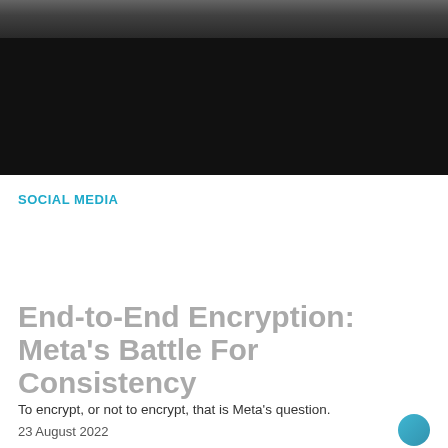[Figure (photo): Dark banner with a photo strip at top and article preview card for Apple AR article]
Apple's data gold mines to fund its AR adventures?
23 August 2022
SOCIAL MEDIA
End-to-End Encryption: Meta's Battle For Consistency
To encrypt, or not to encrypt, that is Meta's question.
23 August 2022